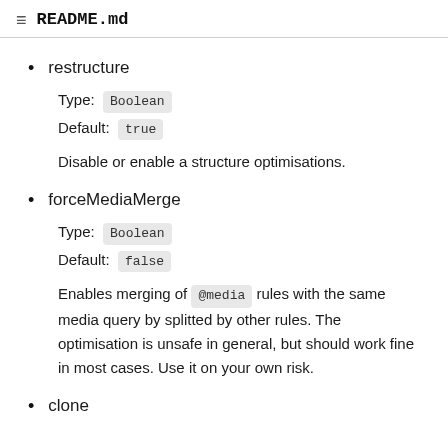README.md
restructure
Type: Boolean
Default: true
Disable or enable a structure optimisations.
forceMediaMerge
Type: Boolean
Default: false
Enables merging of @media rules with the same media query by splitted by other rules. The optimisation is unsafe in general, but should work fine in most cases. Use it on your own risk.
clone